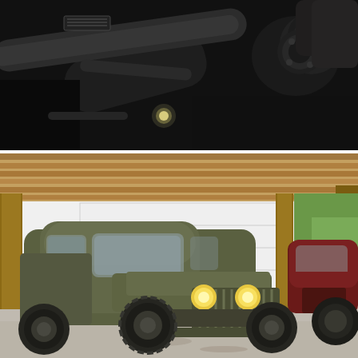[Figure (photo): Close-up dark interior/undercarriage photo showing metal mechanical components including what appears to be a steering column or exhaust pipe and various metal fittings against a black background, with a small bright light visible.]
[Figure (photo): A military-style olive drab green vintage truck (appears to be a WWII-era Dodge WC or similar) with headlights on, parked inside a wooden pole barn garage. A dark red/maroon vintage truck is visible in the background to the right. The garage has wooden beam construction with a white garage door partially open.]